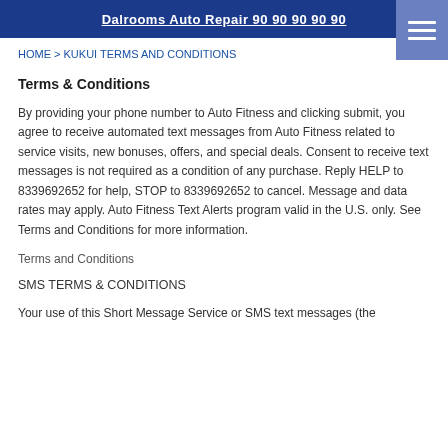Dalrooms Auto Repair 90 90 90 90 90
HOME > KUKUI TERMS AND CONDITIONS
Terms & Conditions
By providing your phone number to Auto Fitness and clicking submit, you agree to receive automated text messages from Auto Fitness related to service visits, new bonuses, offers, and special deals. Consent to receive text messages is not required as a condition of any purchase. Reply HELP to 8339692652 for help, STOP to 8339692652 to cancel. Message and data rates may apply. Auto Fitness Text Alerts program valid in the U.S. only. See Terms and Conditions for more information.
Terms and Conditions
SMS TERMS & CONDITIONS
Your use of this Short Message Service or SMS text messages (the